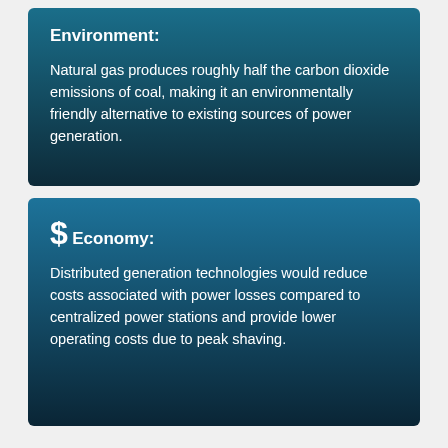Environment:
Natural gas produces roughly half the carbon dioxide emissions of coal, making it an environmentally friendly alternative to existing sources of power generation.
$
Economy:
Distributed generation technologies would reduce costs associated with power losses compared to centralized power stations and provide lower operating costs due to peak shaving.